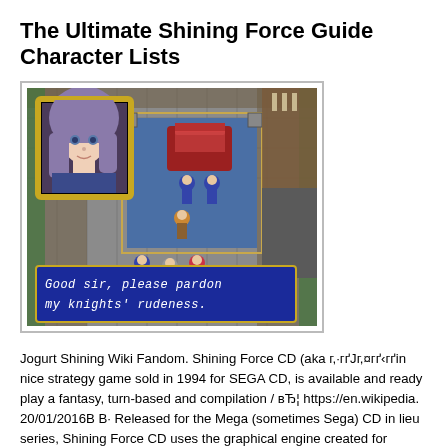The Ultimate Shining Force Guide Character Lists
[Figure (screenshot): Screenshot from Shining Force CD video game showing an RPG scene with a character portrait of a woman with purple hair in a golden frame, game map with characters, and a blue dialogue box reading: Good sir, please pardon my knights' rudeness.]
Jogurt Shining Wiki Fandom. Shining Force CD (aka г,·гґJг,¤гґ‹гґіn nice strategy game sold in 1994 for SEGA CD, is available and ready play a fantasy, turn-based and compilation / вЂ¦ https://en.wikipedia. 20/01/2016В В· Released for the Mega (sometimes Sega) CD in lieu series, Shining Force CD uses the graphical engine created for вЂœSh some CD quality music. Totalling in 4 individual adventures, with bo